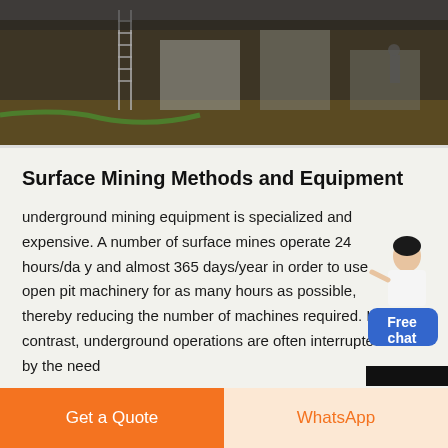[Figure (photo): Construction or mining site photo showing a dark industrial area with ladders and equipment in the background]
Surface Mining Methods and Equipment
underground mining equipment is specialized and expensive. A number of surface mines operate 24 hours/day and almost 365 days/year in order to use open pit machinery for as many hours as possible, thereby reducing the number of machines required. In contrast, underground operations are often interrupted by the need
[Figure (illustration): Chat widget with female avatar figure and blue Free chat badge]
Get a Quote
WhatsApp